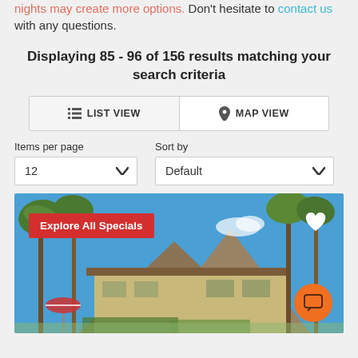nights may create more options. Don't hesitate to contact us with any questions.
Displaying 85 - 96 of 156 results matching your search criteria
[Figure (screenshot): List View / Map View toggle buttons]
Items per page   Sort by   12   Default
[Figure (photo): Hotel with palm trees and mountains in background, 'Explore All Specials' red badge, heart icon, chat bubble icon]